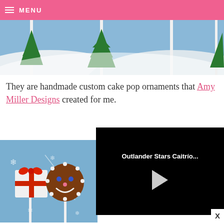☰ MENU
[Figure (photo): Photo of winter-themed cake pop ornaments on sticks showing green Christmas trees against a blue and white snowy background]
They are handmade custom cake pop ornaments that Amy Miller Designs created for me.
[Figure (photo): Photo of Christmas cake pops including a white gift box with red ribbon and a gingerbread face design with snowflake decorations on blue background]
[Figure (screenshot): Video player with black background showing title 'Outlander Stars Caitrío...' and a play button triangle]